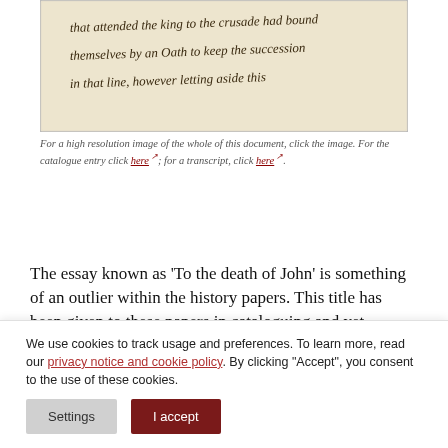[Figure (photo): A scanned handwritten manuscript page showing cursive text in old ink, partially visible. The text appears to reference 'that attended the king to the crusade had bound themselves by an Oath to keep the succession in that line, however letting aside this']
For a high resolution image of the whole of this document, click the image. For the catalogue entry click here; for a transcript, click here.
The essay known as 'To the death of John' is something of an outlier within the history papers. This title has been given to these papers in cataloguing and yet internal features point to the essay on King John having a life both as a stand-alone piece of work and as part of a
We use cookies to track usage and preferences. To learn more, read our privacy notice and cookie policy. By clicking "Accept", you consent to the use of these cookies.